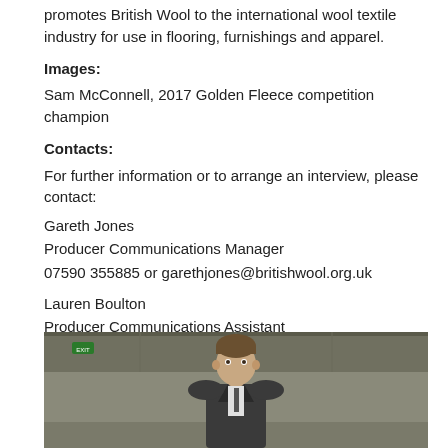promotes British Wool to the international wool textile industry for use in flooring, furnishings and apparel.
Images:
Sam McConnell, 2017 Golden Fleece competition champion
Contacts:
For further information or to arrange an interview, please contact:
Gareth Jones
Producer Communications Manager
07590 355885 or garethjones@britishwool.org.uk
Lauren Boulton
Producer Communications Assistant
01274 688666 or laurenboulton@britishwool.org.uk
Issued by agpo@britishwool.org.uk
Back to Press Releases
[Figure (photo): Photo of Sam McConnell, a man in a suit, 2017 Golden Fleece competition champion, shown from chest up in an indoor setting]